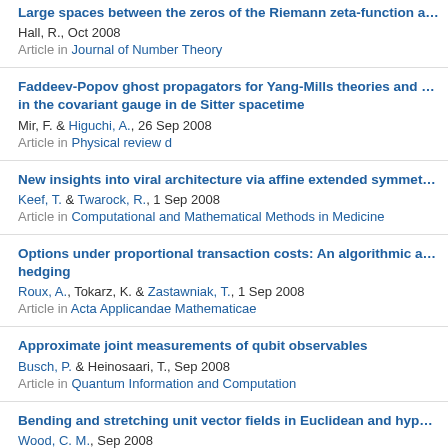Large spaces between the zeros of the Riemann zeta-function a...
Hall, R., Oct 2008
Article in Journal of Number Theory
Faddeev-Popov ghost propagators for Yang-Mills theories and ... in the covariant gauge in de Sitter spacetime
Mir, F. & Higuchi, A., 26 Sep 2008
Article in Physical review d
New insights into viral architecture via affine extended symmet...
Keef, T. & Twarock, R., 1 Sep 2008
Article in Computational and Mathematical Methods in Medicine
Options under proportional transaction costs: An algorithmic a... hedging
Roux, A., Tokarz, K. & Zastawniak, T., 1 Sep 2008
Article in Acta Applicandae Mathematicae
Approximate joint measurements of qubit observables
Busch, P. & Heinosaari, T., Sep 2008
Article in Quantum Information and Computation
Bending and stretching unit vector fields in Euclidean and hype...
Wood, C. M., Sep 2008
Article in Annals of Global Analysis and Geometry